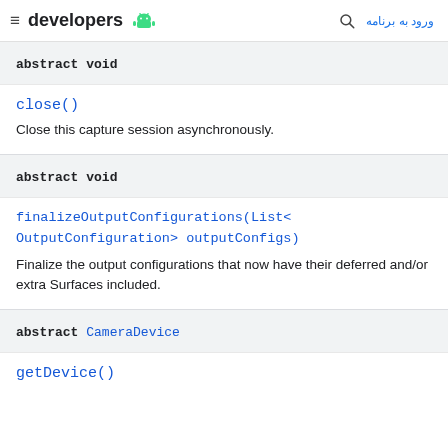developers  [android icon]  [search]  ورود به برنامه
abstract void
close()
Close this capture session asynchronously.
abstract void
finalizeOutputConfigurations(List<OutputConfiguration> outputConfigs)
Finalize the output configurations that now have their deferred and/or extra Surfaces included.
abstract CameraDevice
getDevice()